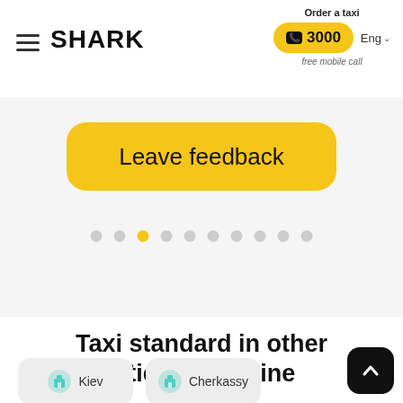SHARK — Order a taxi — ☎3000 — free mobile call — Eng
Leave feedback
[Figure (other): Carousel pagination dots, 10 dots total with the 3rd one highlighted in yellow]
Taxi standard in other cities of Ukraine
[Figure (other): Two city cards partially visible: Kiev and Cherkassy, each with a teal taxi/building icon on a light gray rounded card]
[Figure (other): Back to top button: black rounded square with white upward chevron arrow, bottom right corner]